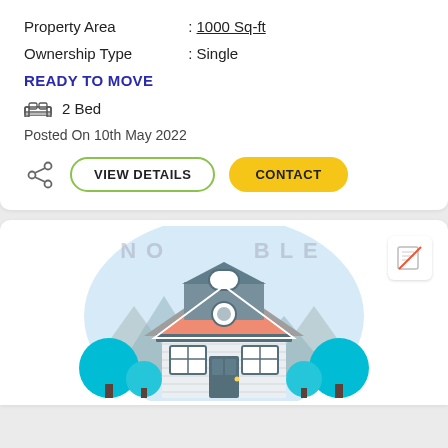Property Area : 1000 Sq-ft
Ownership Type : Single
READY TO MOVE
2 Bed
Posted On 10th May 2022
VIEW DETAILS | CONTACT
[Figure (illustration): Cartoon illustration of a house with orange/salmon roof, white siding, blue-grey door, round window, flanked by teal trees and mountains, with a light blue circular backdrop. Watermark text 'NO...BLE' visible. No-image icon in top right.]